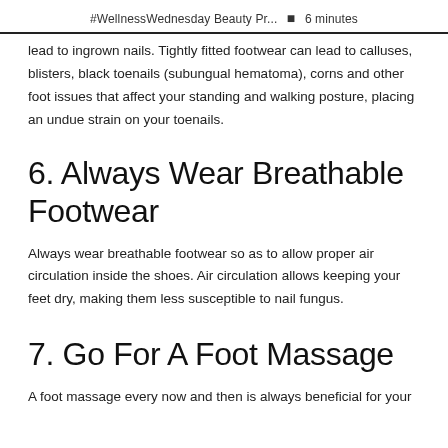#WellnessWednesday Beauty Pr... • 6 minutes
lead to ingrown nails. Tightly fitted footwear can lead to calluses, blisters, black toenails (subungual hematoma), corns and other foot issues that affect your standing and walking posture, placing an undue strain on your toenails.
6. Always Wear Breathable Footwear
Always wear breathable footwear so as to allow proper air circulation inside the shoes. Air circulation allows keeping your feet dry, making them less susceptible to nail fungus.
7. Go For A Foot Massage
A foot massage every now and then is always beneficial for your